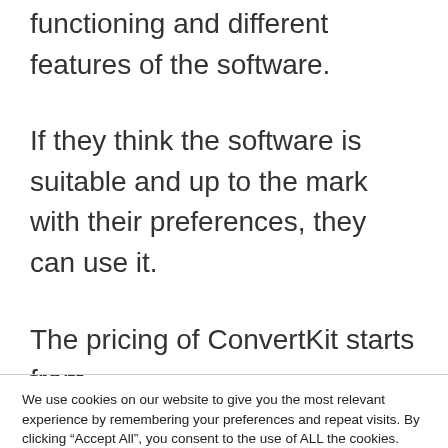functioning and different features of the software.
If they think the software is suitable and up to the mark with their preferences, they can use it.
The pricing of ConvertKit starts from
We use cookies on our website to give you the most relevant experience by remembering your preferences and repeat visits. By clicking “Accept All”, you consent to the use of ALL the cookies. However, you may visit "Cookie Settings" to provide a controlled consent.